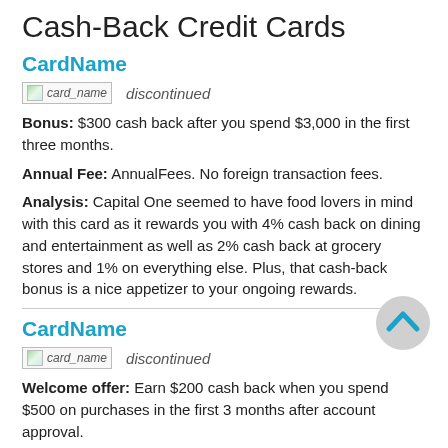Cash-Back Credit Cards
CardName
[Figure (other): Card image placeholder labeled 'card_name' with broken image icon, followed by italic text 'discontinued']
Bonus: $300 cash back after you spend $3,000 in the first three months.
Annual Fee: AnnualFees. No foreign transaction fees.
Analysis: Capital One seemed to have food lovers in mind with this card as it rewards you with 4% cash back on dining and entertainment as well as 2% cash back at grocery stores and 1% on everything else. Plus, that cash-back bonus is a nice appetizer to your ongoing rewards.
CardName
[Figure (other): Card image placeholder labeled 'card_name' with broken image icon, followed by italic text 'discontinued']
Welcome offer: Earn $200 cash back when you spend $500 on purchases in the first 3 months after account approval.